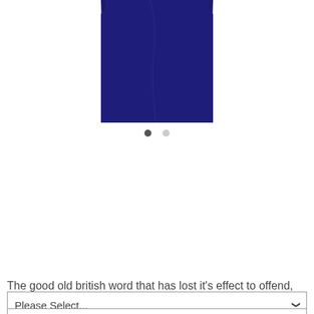[Figure (photo): Bottom portion of a dark navy/purple t-shirt product photo against white background]
The good old british word that has lost it's effect to offend, and is now commonly used to humour one another. If you can foretell that your day is gonna be one of those not-so-good days, you can wear this swearing t-shirt.
Style:
Men's Tee
Colour:
Please Select...
Size:
Please Select...